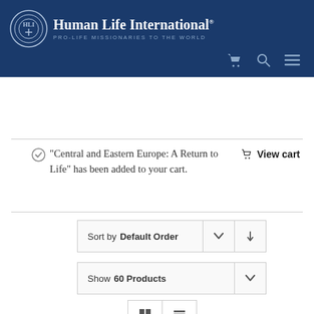Human Life International® — PRO-LIFE MISSIONARIES TO THE WORLD
“Central and Eastern Europe: A Return to Life” has been added to your cart.
View cart
Sort by Default Order
Show 60 Products